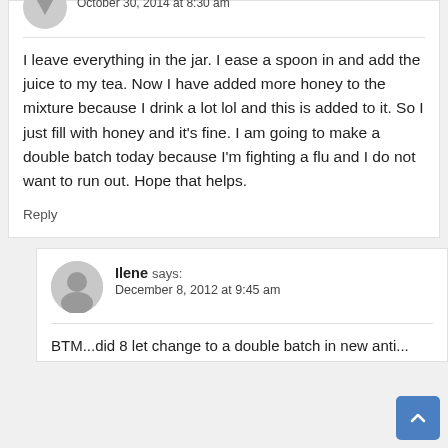October 30, 2014 at 8:30 am
I leave everything in the jar. I ease a spoon in and add the juice to my tea. Now I have added more honey to the mixture because I drink a lot lol and this is added to it. So I just fill with honey and it's fine. I am going to make a double batch today because I'm fighting a flu and I do not want to run out. Hope that helps.
Reply
Ilene says:
December 8, 2012 at 9:45 am
BTM...did 8 let change to a double batch in new anti...